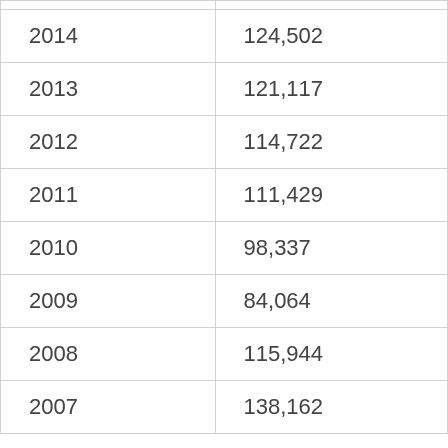| 2014 | 124,502 |
| 2013 | 121,117 |
| 2012 | 114,722 |
| 2011 | 111,429 |
| 2010 | 98,337 |
| 2009 | 84,064 |
| 2008 | 115,944 |
| 2007 | 138,162 |
| 2006 | 163,269 |